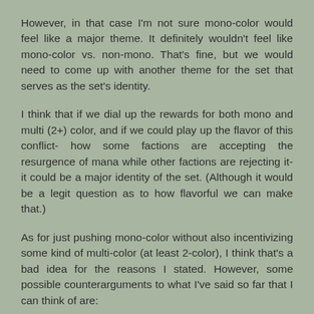However, in that case I'm not sure mono-color would feel like a major theme. It definitely wouldn't feel like mono-color vs. non-mono. That's fine, but we would need to come up with another theme for the set that serves as the set's identity.
I think that if we dial up the rewards for both mono and multi (2+) color, and if we could play up the flavor of this conflict- how some factions are accepting the resurgence of mana while other factions are rejecting it- it could be a major identity of the set. (Although it would be a legit question as to how flavorful we can make that.)
As for just pushing mono-color without also incentivizing some kind of multi-color (at least 2-color), I think that's a bad idea for the reasons I stated. However, some possible counterarguments to what I've said so far that I can think of are: